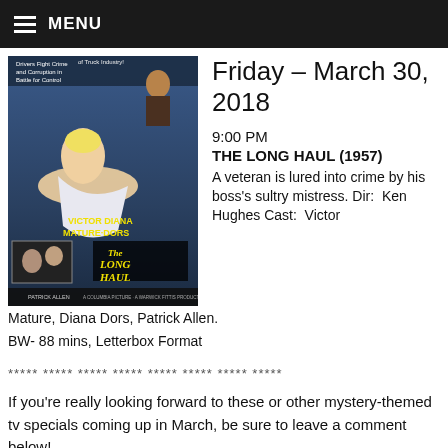MENU
Friday – March 30, 2018
9:00 PM
THE LONG HAUL (1957)
A veteran is lured into crime by his boss's sultry mistress. Dir:  Ken Hughes Cast:  Victor Mature, Diana Dors, Patrick Allen.
BW- 88 mins, Letterbox Format
[Figure (photo): Movie poster for The Long Haul (1957) featuring Victor Mature and Diana Dors]
***** ***** ***** ***** ***** ***** ***** *****
If you're really looking forward to these or other mystery-themed tv specials coming up in March, be sure to leave a comment below!